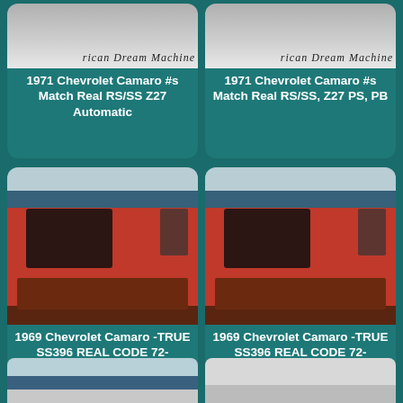[Figure (photo): 1971 Chevrolet Camaro partial top view with American Dream Machine script logo]
1971 Chevrolet Camaro #s Match Real RS/SS Z27 Automatic
[Figure (photo): 1971 Chevrolet Camaro partial top view with American Dream Machine script logo]
1971 Chevrolet Camaro #s Match Real RS/SS, Z27 PS, PB
[Figure (photo): 1969 Chevrolet Camaro red muscle car in showroom]
1969 Chevrolet Camaro -TRUE SS396 REAL CODE 72-
[Figure (photo): 1969 Chevrolet Camaro red muscle car in showroom]
1969 Chevrolet Camaro -TRUE SS396 REAL CODE 72-
[Figure (photo): Partial bottom of another car listing]
[Figure (photo): Partial bottom of another car listing]